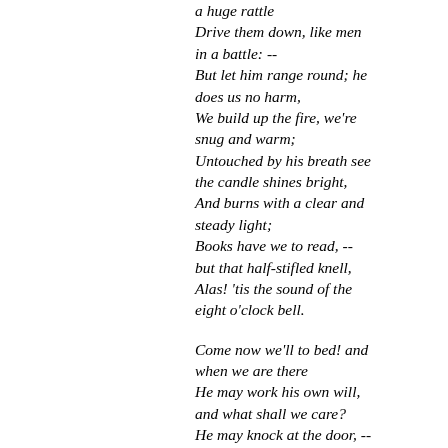a huge rattle
Drive them down, like men in a battle: --
But let him range round; he does us no harm,
We build up the fire, we're snug and warm;
Untouched by his breath see the candle shines bright,
And burns with a clear and steady light;
Books have we to read, -- but that half-stifled knell,
Alas! 'tis the sound of the eight o'clock bell.

Come now we'll to bed! and when we are there
He may work his own will, and what shall we care?
He may knock at the door, -- we'll not let him in;
May drive at the windows, -- we'll laugh at his din;
Let him seek his own home wherever it be;